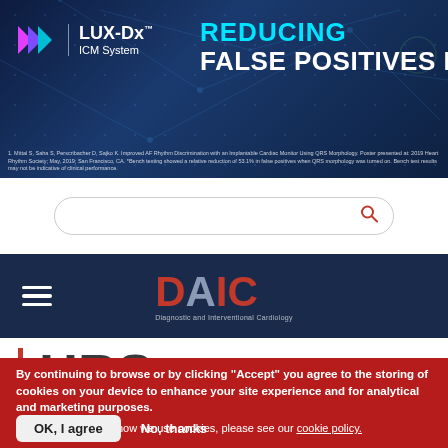[Figure (screenshot): LUX-Dx ICM System banner with arrow logo and text 'REDUCING FALSE POSITIVES BY 53%' on dark blue network background with footnote text]
1. Mittal S, Saha S, Perscribacher D, Sajko K. Improved AF Rhythm Discrimination with an Implantable Cardiac Monitor Using QRS Morphology. Poster presented at: 2019 Heart Rhythm Society; May, 2019; San Francisco, CA. *Bench testing showed a relative reduction of 53.1% in false positives when QRS morphology was turned on. Bench test results may not be indicative of clinical performance.
[Figure (screenshot): Search bar with rounded border and red search magnifying glass icon]
[Figure (logo): DAIC (Diagnostic and Interventional Cardiology) logo in red and gray on dark navy navigation bar with hamburger menu]
HRS
By continuing to browse or by clicking “Accept” you agree to the storing of cookies on your device to enhance your site experience and for analytical and marketing purposes.
To learn more about how we use cookies, please see our cookie policy.
OK, I agree   No, thanks